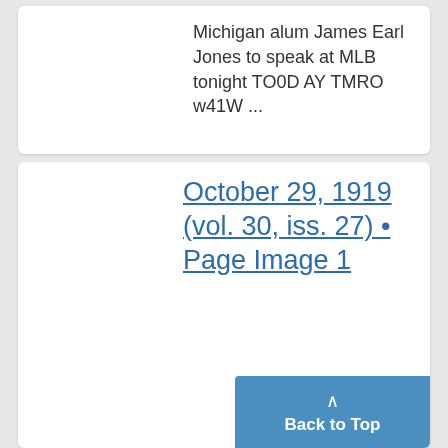Michigan alum James Earl Jones to speak at MLB tonight TO0D AY TMRO w41W ...
October 29, 1919 (vol. 30, iss. 27) • Page Image 1
....al Vi /' -I 1 f , A&'A r -l . l- :Rtj r'i '44 U IAS.&X LAIN SERVICE 1 AM ARBOR, MIC